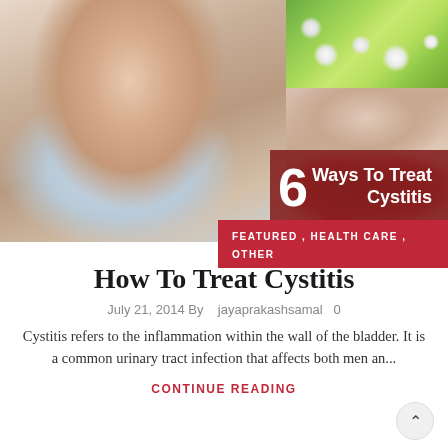[Figure (photo): Composite hero image: left side shows a woman sitting with chin resting on hands (light blue garment), top-right shows a field of white dandelions on green grass, bottom-right shows a woman lying down and a red cranberry juice container with cranberries. Overlaid is a dark-red banner reading '6 Ways To Treat Cystitis'.]
FEATURED , HEALTH CARE , OTHER
How To Treat Cystitis
July 21, 2014 By   jayaprakashsamal   0
Cystitis refers to the inflammation within the wall of the bladder. It is a common urinary tract infection that affects both men an...
CONTINUE READING